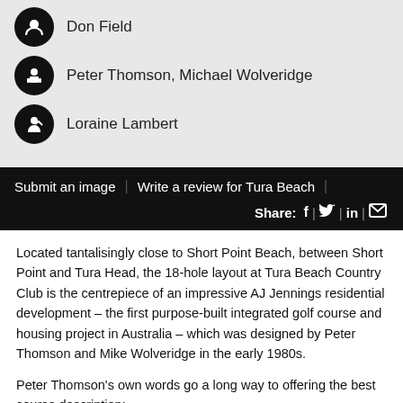Don Field
Peter Thomson, Michael Wolveridge
Loraine Lambert
Submit an image | Write a review for Tura Beach |
Share: f | 🐦 | in | ✉
Located tantalisingly close to Short Point Beach, between Short Point and Tura Head, the 18-hole layout at Tura Beach Country Club is the centrepiece of an impressive AJ Jennings residential development – the first purpose-built integrated golf course and housing project in Australia – which was designed by Peter Thomson and Mike Wolveridge in the early 1980s.
Peter Thomson's own words go a long way to offering the best course description:
“Part of the Tura Beach golf course bears a striking resemblance to the great classical seaside courses of Britain, while other parts of the course take in the almost unbelievable beauty of the Australian forest area. The end resemblance is something quite special.